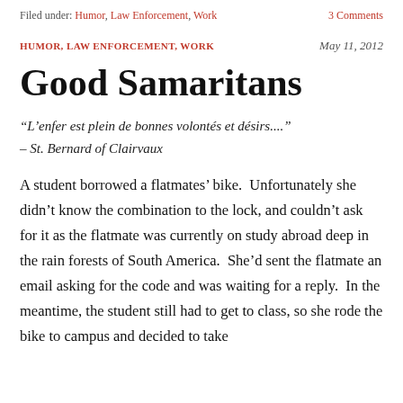Filed under: Humor, Law Enforcement, Work   3 Comments
HUMOR, LAW ENFORCEMENT, WORK   May 11, 2012
Good Samaritans
“L’enfer est plein de bonnes volontés et désirs....”
– St. Bernard of Clairvaux
A student borrowed a flatmates’ bike.  Unfortunately she didn’t know the combination to the lock, and couldn’t ask for it as the flatmate was currently on study abroad deep in the rain forests of South America.  She’d sent the flatmate an email asking for the code and was waiting for a reply.  In the meantime, the student still had to get to class, so she rode the bike to campus and decided to take